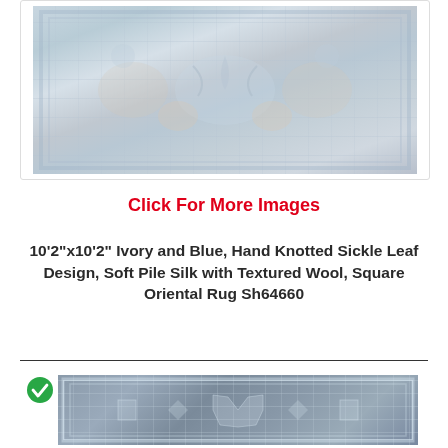[Figure (photo): Top portion of an ivory and blue oriental rug with sickle leaf design, soft pile silk with textured wool]
Click For More Images
10'2"x10'2" Ivory and Blue, Hand Knotted Sickle Leaf Design, Soft Pile Silk with Textured Wool, Square Oriental Rug Sh64660
[Figure (photo): Gray oriental rug with geometric and medallion patterns, shown with a green checkmark indicating selection]